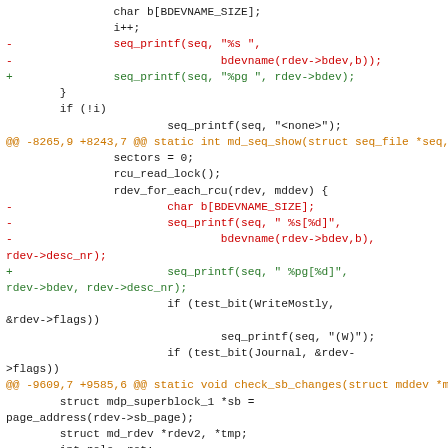Code diff showing changes to Linux kernel md.c file, including removal of char b[BDEVNAME_SIZE] and bdevname() calls, replaced with %pg format specifier for block device printing.